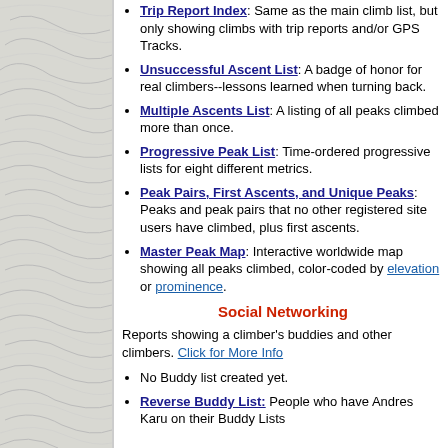Trip Report Index: Same as the main climb list, but only showing climbs with trip reports and/or GPS Tracks.
Unsuccessful Ascent List: A badge of honor for real climbers--lessons learned when turning back.
Multiple Ascents List: A listing of all peaks climbed more than once.
Progressive Peak List: Time-ordered progressive lists for eight different metrics.
Peak Pairs, First Ascents, and Unique Peaks: Peaks and peak pairs that no other registered site users have climbed, plus first ascents.
Master Peak Map: Interactive worldwide map showing all peaks climbed, color-coded by elevation or prominence.
Social Networking
Reports showing a climber's buddies and other climbers. Click for More Info
No Buddy list created yet.
Reverse Buddy List: People who have Andres Karu on their Buddy Lists